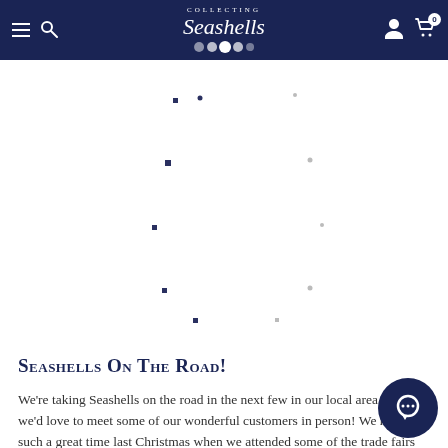Collecting Seashells – navigation bar with logo, hamburger menu, search, user icon, and cart (0)
[Figure (illustration): Scattered star/dot pattern on white background, decorative element]
Seashells On The Road!
We're taking Seashells on the road in the next few in our local area, and we'd love to meet some of our wonderful customers in person! We had such a great time last Christmas when we attended some of the trade fairs in the area, so we knew we wanted to do it